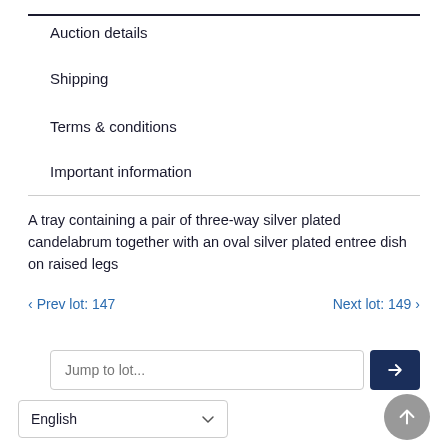Auction details
Shipping
Terms & conditions
Important information
A tray containing a pair of three-way silver plated candelabrum together with an oval silver plated entree dish on raised legs
‹ Prev lot: 147    Next lot: 149 ›
Jump to lot...
English